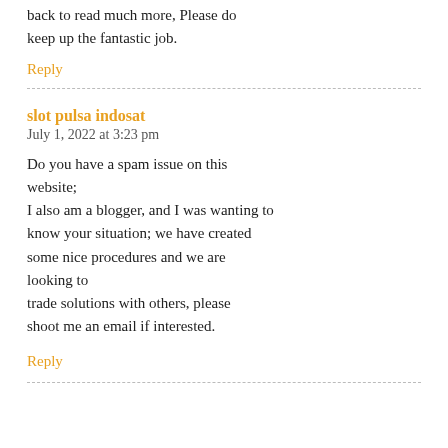back to read much more, Please do keep up the fantastic job.
Reply
slot pulsa indosat
July 1, 2022 at 3:23 pm
Do you have a spam issue on this website;
I also am a blogger, and I was wanting to know your situation; we have created some nice procedures and we are looking to
trade solutions with others, please shoot me an email if interested.
Reply